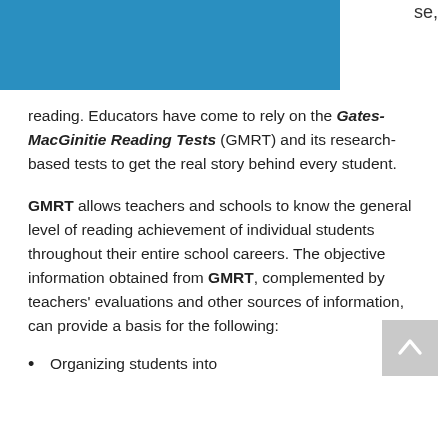reading. Educators have come to rely on the Gates-MacGinitie Reading Tests (GMRT) and its research-based tests to get the real story behind every student.
GMRT allows teachers and schools to know the general level of reading achievement of individual students throughout their entire school careers. The objective information obtained from GMRT, complemented by teachers' evaluations and other sources of information, can provide a basis for the following:
Organizing students into